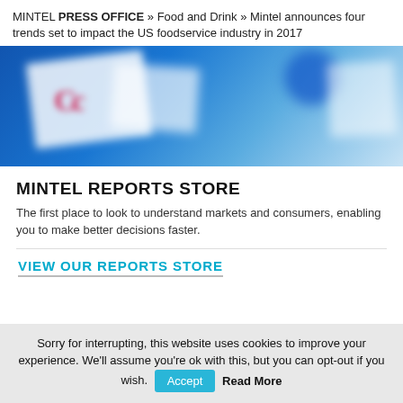MINTEL PRESS OFFICE » Food and Drink » Mintel announces four trends set to impact the US foodservice industry in 2017
[Figure (photo): Blurred blue promotional banner image showing documents and a globe, representing Mintel Reports Store.]
MINTEL REPORTS STORE
The first place to look to understand markets and consumers, enabling you to make better decisions faster.
VIEW OUR REPORTS STORE
Sorry for interrupting, this website uses cookies to improve your experience. We'll assume you're ok with this, but you can opt-out if you wish. Accept Read More